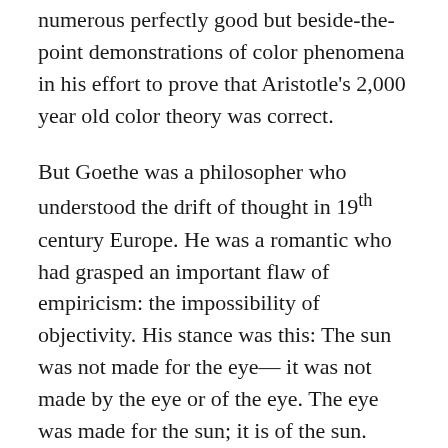numerous perfectly good but beside-the-point demonstrations of color phenomena in his effort to prove that Aristotle's 2,000 year old color theory was correct.
But Goethe was a philosopher who understood the drift of thought in 19th century Europe. He was a romantic who had grasped an important flaw of empiricism: the impossibility of objectivity. His stance was this: The sun was not made for the eye— it was not made by the eye or of the eye. The eye was made for the sun; it is of the sun. This stuff is so romantic, I frequently urge my students to use it in their love letters. But it also stands true. The light that bathes creation was the precondition that caused our eyes to be as they are. When we see color it is not out there in the world– pointed onto tulips and snow banks– it is formed in our